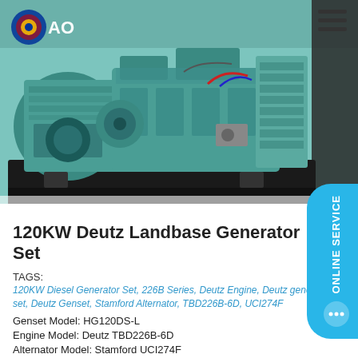[Figure (photo): 120KW Deutz Landbase Generator Set — teal/green diesel generator with alternator on black frame, photographed from the side in a warehouse setting.]
120KW Deutz Landbase Generator Set
TAGS:
120KW Diesel Generator Set, 226B Series, Deutz Engine, Deutz generator set, Deutz Genset, Stamford Alternator, TBD226B-6D, UCI274F
Genset Model: HG120DS-L
Engine Model: Deutz TBD226B-6D
Alternator Model: Stamford UCI274F
Frequency: 50Hz